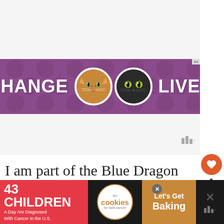[Figure (infographic): Purple banner advertisement with two cat face icons in white circles and bold white text 'CHANGE LIVES']
I am part of the Blue Dragon Canada ambassador program and I receive special perks as
[Figure (infographic): Bottom advertisement bar: red section with '43 CHILDREN A Day Are Diagnosed With Cancer in the U.S.', white cookies for kids cancer logo circle, brown/orange 'Let's Get Baking' section. Close X button visible.]